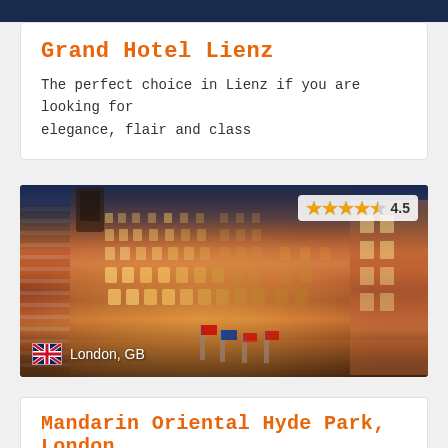Grand Hotel Lienz
The perfect choice in Lienz if you are looking for elegance, flair and class
[Figure (photo): Nighttime exterior photo of the Mandarin Oriental Hyde Park hotel in London, GB — a grand Victorian red-brick building illuminated with warm golden lights, with flags at the entrance. Rating badge shows 4.5 stars (4 full stars and 1 half star). Location badge shows UK flag and text 'London, GB'.]
Mandarin Oriental Hyde Park, London